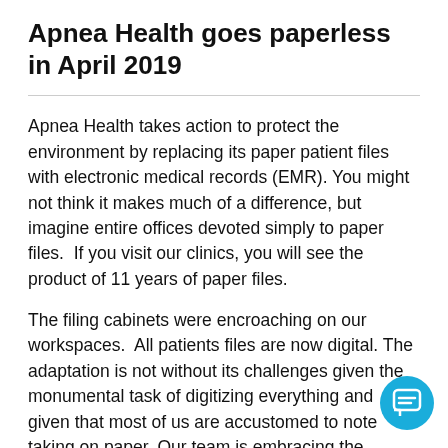Apnea Health goes paperless in April 2019
Apnea Health takes action to protect the environment by replacing its paper patient files with electronic medical records (EMR). You might not think it makes much of a difference, but imagine entire offices devoted simply to paper files.  If you visit our clinics, you will see the product of 11 years of paper files.
The filing cabinets were encroaching on our workspaces.  All patients files are now digital. The adaptation is not without its challenges given the monumental task of digitizing everything and given that most of us are accustomed to note taking on paper. Our team is embracing the change and our office are feeling better...
[Figure (illustration): Blue circular chat/message button icon in bottom right corner]